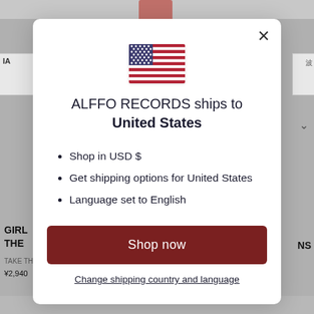[Figure (screenshot): Background website page partially visible behind a modal dialog, showing a product listing page for ALFFO RECORDS.]
[Figure (infographic): US flag SVG icon displayed at top of modal dialog.]
ALFFO RECORDS ships to United States
Shop in USD $
Get shipping options for United States
Language set to English
Shop now
Change shipping country and language